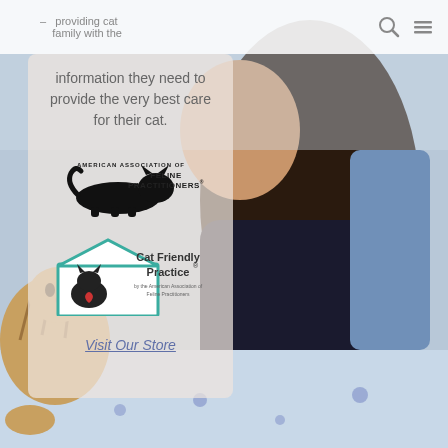[Figure (photo): Background photo of a woman with dark hair holding/petting a tabby cat on a bed with blue patterned sheets]
providing cat family with the information they need to provide the very best care for their cat.
information they need to provide the very best care for their cat.
[Figure (logo): American Association of Feline Practitioners (AAFP) logo — black cat silhouette lying down with text FELINE PRACTITIONERS]
[Figure (logo): Cat Friendly Practice logo — teal house shape with cat silhouette and text Cat Friendly Practice by the American Association of Feline Practitioners]
Visit Our Store